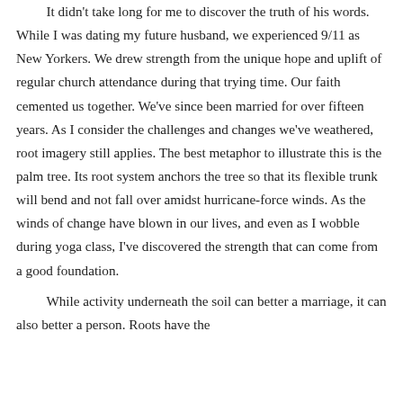It didn't take long for me to discover the truth of his words. While I was dating my future husband, we experienced 9/11 as New Yorkers. We drew strength from the unique hope and uplift of regular church attendance during that trying time. Our faith cemented us together. We've since been married for over fifteen years. As I consider the challenges and changes we've weathered, root imagery still applies. The best metaphor to illustrate this is the palm tree. Its root system anchors the tree so that its flexible trunk will bend and not fall over amidst hurricane-force winds. As the winds of change have blown in our lives, and even as I wobble during yoga class, I've discovered the strength that can come from a good foundation.
While activity underneath the soil can better a marriage, it can also better a person. Roots have the